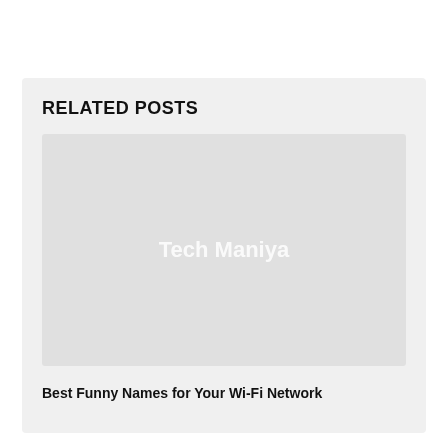RELATED POSTS
[Figure (logo): Placeholder image with 'Tech Maniya' watermark text on a light gray background]
Best Funny Names for Your Wi-Fi Network